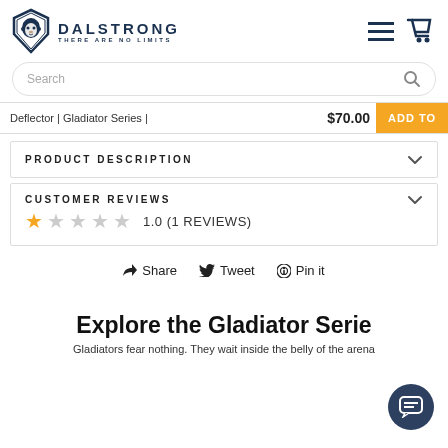[Figure (logo): Dalstrong logo with lion shield and text 'DALSTRONG THERE ARE NO LIMITS', plus hamburger menu and cart icons]
Search
Deflector | Gladiator Series | $70.00  ADD TO
PRODUCT DESCRIPTION
CUSTOMER REVIEWS
1.0 (1 REVIEWS)
Share  Tweet  Pin it
Explore the Gladiator Serie
Gladiators fear nothing. They wait inside the belly of the arena